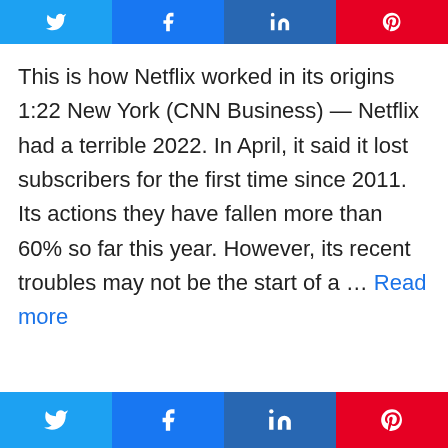[Figure (other): Top social share buttons bar with Twitter, Facebook, LinkedIn, Pinterest icons]
This is how Netflix worked in its origins 1:22 New York (CNN Business) — Netflix had a terrible 2022. In April, it said it lost subscribers for the first time since 2011. Its actions they have fallen more than 60% so far this year. However, its recent troubles may not be the start of a … Read more
[Figure (other): Bottom social share buttons bar with Twitter, Facebook, LinkedIn, Pinterest icons]